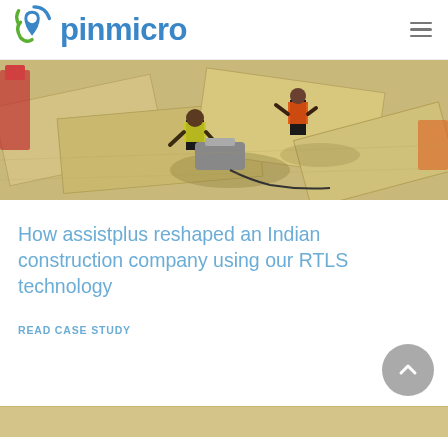pinmicro
[Figure (photo): Aerial view of construction workers on a job site, handling plywood sheets with a power tool, wearing high-visibility vests.]
How assistplus reshaped an Indian construction company using our RTLS technology
READ CASE STUDY